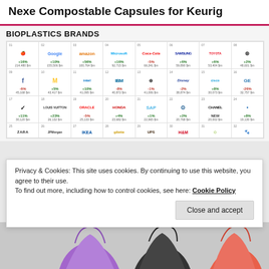Nexe Compostable Capsules for Keurig
BIOPLASTICS BRANDS
[Figure (infographic): Grid of top global brand logos (Apple, Google, Amazon, Microsoft, Coca-Cola, Samsung, Toyota, Mercedes-Benz, Facebook, McDonald's, Intel, IBM, BMW, Disney, Cisco, GE, Nike, Louis Vuitton, Oracle, Honda, SAP, Pepsi, Chanel, American Express, Zara, JPMorgan, IKEA, UPS, H&M, and others) with brand value changes and figures.]
Privacy & Cookies: This site uses cookies. By continuing to use this website, you agree to their use.
To find out more, including how to control cookies, see here: Cookie Policy
[Figure (photo): Photo of plastic bags in purple, black, and red/orange colors at the bottom of the page]